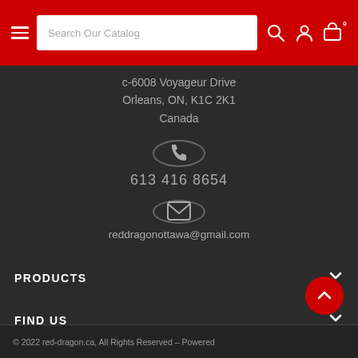Search Our Catalog
c-6008 Voyageur Drive
Orleans, ON, K1C 2K1
Canada
[Figure (illustration): Phone icon in circle]
613 416 8654
[Figure (illustration): Email/envelope icon in circle]
reddragonottawa@gmail.com
PRODUCTS
FIND US
© 2022 red-dragon.ca, All Rights Reserved – Powered